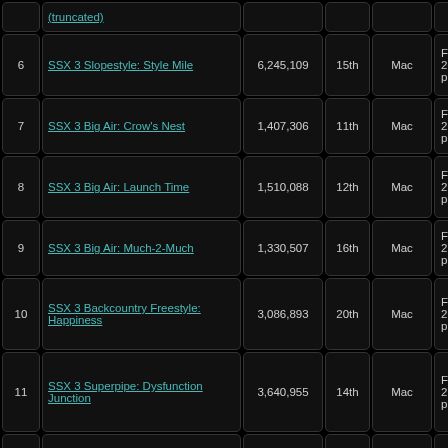| # | Name | Score | Rank | Platform | Date | Verified |
| --- | --- | --- | --- | --- | --- | --- |
| 6 | SSX 3 Slopestyle: Style Mile | 6,245,109 | 15th | Mac | Fri Mar 25, 2005 10:13 pm | Yes |
| 7 | SSX 3 Big Air: Crow's Nest | 1,407,306 | 11th | Mac | Fri Mar 25, 2005 10:13 pm | Yes |
| 8 | SSX 3 Big Air: Launch Time | 1,510,088 | 12th | Mac | Fri Mar 25, 2005 10:13 pm | Yes |
| 9 | SSX 3 Big Air: Much-2-Much | 1,330,507 | 16th | Mac | Fri Mar 25, 2005 10:13 pm | Yes |
| 10 | SSX 3 Backcountry Freestyle: Happiness | 3,086,893 | 20th | Mac | Fri Mar 25, 2005 10:57 pm | Yes |
| 11 | SSX 3 Superpipe: Dysfunction Junction | 3,640,955 | 14th | Mac | Fri Mar 25, 2005 10:57 pm | Yes |
| 12 | SSX 3 Superpipe: Schizophrenia | 3,366,265 | 14th | Mac | Fri Mar 25, 2005 10:57 pm | Yes |